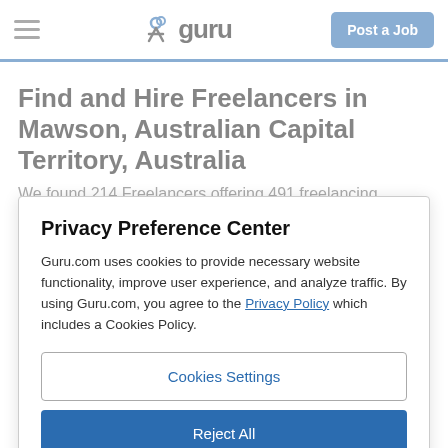guru — Post a Job
Find and Hire Freelancers in Mawson, Australian Capital Territory, Australia
We found 214 Freelancers offering 491 freelancing
Privacy Preference Center
Guru.com uses cookies to provide necessary website functionality, improve user experience, and analyze traffic. By using Guru.com, you agree to the Privacy Policy which includes a Cookies Policy.
Cookies Settings
Reject All
Accept All Cookies